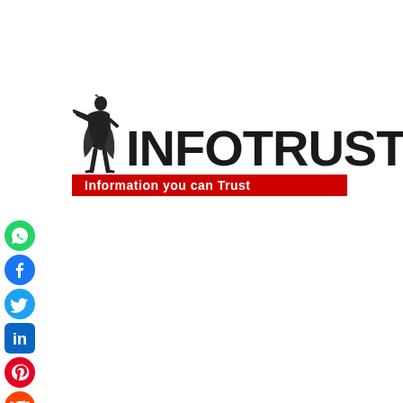[Figure (logo): InfoTrust logo with knight herald figure blowing trumpet, bold INFOTRUST text, and red tagline bar reading 'Information you can Trust']
[Figure (infographic): Social media sharing sidebar with icons: WhatsApp (green), Facebook (blue), Twitter (blue bird), LinkedIn (blue), Pinterest (red), Reddit (orange), Email (red envelope), Print (grey printer)]